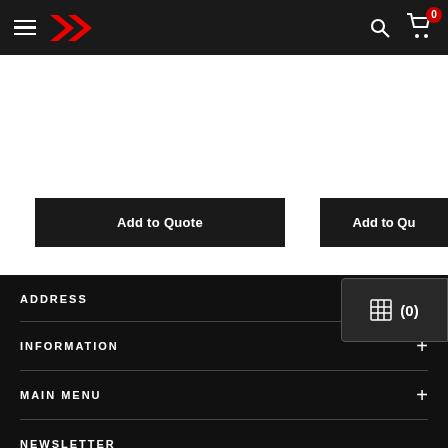Navigation bar with hamburger menu, logo, search icon, and cart icon showing 0 items
[Figure (screenshot): Add to Quote button (dark/black background, white text) on a product card, left card fully visible, right card partially visible with truncated Add to Quote button]
ADDRESS
[Figure (other): Quote badge showing grid icon and (0) count]
INFORMATION
MAIN MENU
NEWSLETTER